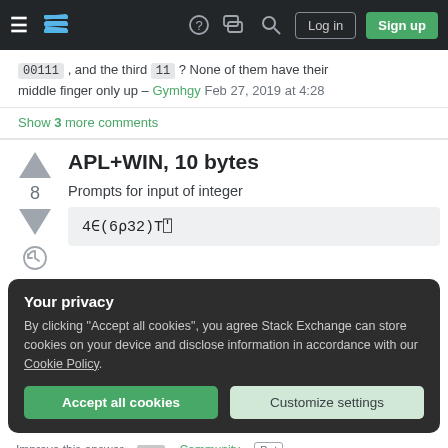Stack Exchange navigation bar with hamburger menu, logo, help, chat, search icons, Login and Sign up buttons
00111 , and the third 11 ? None of them have their middle finger only up – Gymhgy Feb 27, 2019 at 4:28
Show 3 more comments
APL+WIN, 10 bytes
Prompts for input of integer
4∈(6⍴32)T⍞
Your privacy
By clicking "Accept all cookies", you agree Stack Exchange can store cookies on your device and disclose information in accordance with our Cookie Policy.
Accept all cookies
Customize settings
Improve this answer   Community Bot